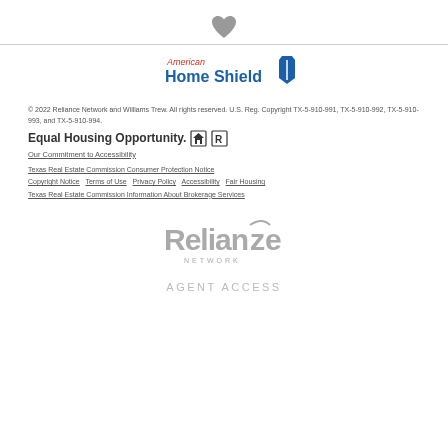[Figure (illustration): Gray heart icon centered at top of page]
[Figure (logo): American Home Shield logo with text 'Home Shield' and circular blue/red icon]
© 2022 Reliance Network and Williams Trew. All rights reserved. U.S. Reg. Copyright TX-5-910-991, TX-5-910-992, TX-5-910-993, and TX-5-910-994.
Equal Housing Opportunity.
Our Commitment to Accessibility
Texas Real Estate Commission Consumer Protection Notice
Copyright Notice   Terms of Use   Privacy Policy   Accessibility   Fair Housing
Texas Real Estate Commission Information About Brokerage Services
[Figure (logo): Reliance Network logo in gray]
AGENT ACCESS